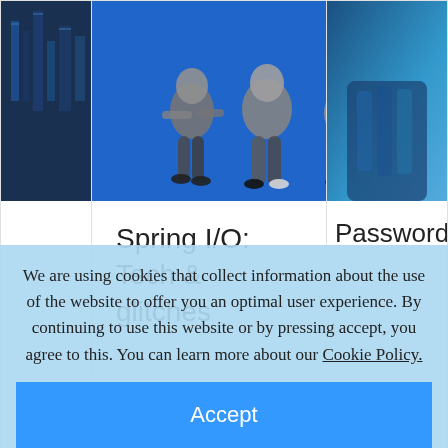[Figure (photo): Partial left card with building/city image (sliver visible)]
[Figure (photo): Center card with black-and-white group of people sitting on blue background]
Spring I/O: Tech & glitches
Emoke Laszlo, iun. 2022
[Figure (photo): Right card with blue abstract/person image (partial)]
Password
Dani Oprean, n
We are using cookies that collect information about the use of the website to offer you an optimal user experience. By continuing to use this website or by pressing accept, you agree to this. You can learn more about our Cookie Policy.
Accept